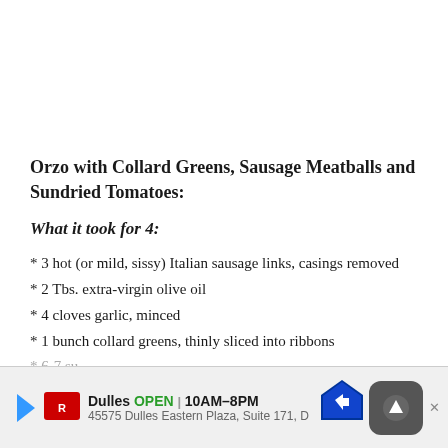Orzo with Collard Greens, Sausage Meatballs and Sundried Tomatoes:
What it took for 4:
* 3 hot (or mild, sissy) Italian sausage links, casings removed
* 2 Tbs. extra-virgin olive oil
* 4 cloves garlic, minced
* 1 bunch collard greens, thinly sliced into ribbons
* 6-7 su[ndried tomatoes]
* 1/3 cu[p orzo]
Dulles  OPEN | 10AM–8PM  45575 Dulles Eastern Plaza, Suite 171, D